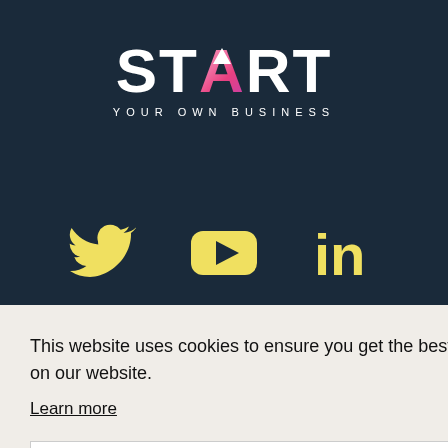[Figure (logo): START Your Own Business logo with white bold text and gradient A with upward arrow]
[Figure (infographic): Three social media icons in yellow: Twitter bird, YouTube play button rectangle, LinkedIn 'in' icon]
This website uses cookies to ensure you get the best experience on our website.
Learn more
Got it!